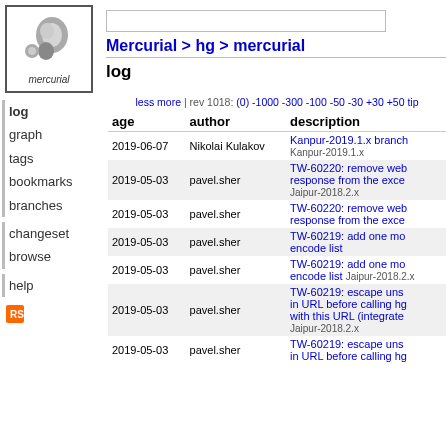[Figure (logo): Mercurial logo - grey comma/apostrophe shapes with 'mercurial' text below]
Mercurial > hg > mercurial
log
less more | rev 1018: (0) -1000 -300 -100 -50 -30 +30 +50 tip
| age | author | description |
| --- | --- | --- |
| 2019-06-07 | Nikolai Kulakov | Kanpur-2019.1.x branch
Kanpur-2019.1.x |
| 2019-05-03 | pavel.sher | TW-60220: remove web response from the exce
Jaipur-2018.2.x |
| 2019-05-03 | pavel.sher | TW-60220: remove web response from the exce |
| 2019-05-03 | pavel.sher | TW-60219: add one more encode list |
| 2019-05-03 | pavel.sher | TW-60219: add one more encode list  Jaipur-2018.2.x |
| 2019-05-03 | pavel.sher | TW-60219: escape unsa in URL before calling hg with this URL (integrate
Jaipur-2018.2.x |
| 2019-05-03 | pavel.sher | TW-60219: escape uns in URL before calling hg |
log
graph
tags
bookmarks
branches
changeset
browse
help